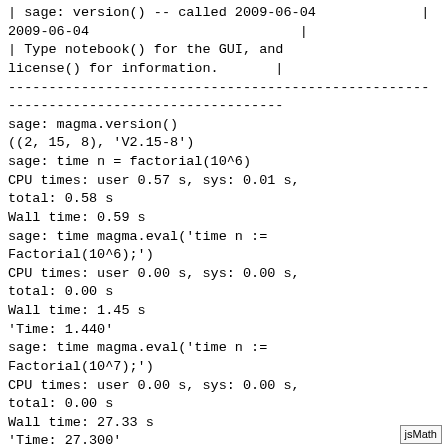| sage: version() -- called 2009-06-04                          |
| Type notebook() for the GUI, and license() for information.   |
--------------------------------------------------------------------
----------------------------------
sage: magma.version()
((2, 15, 8), 'V2.15-8')
sage: time n = factorial(10^6)
CPU times: user 0.57 s, sys: 0.01 s, total: 0.58 s
Wall time: 0.59 s
sage: time magma.eval('time n := Factorial(10^6);')
CPU times: user 0.00 s, sys: 0.00 s, total: 0.00 s
Wall time: 1.45 s
'Time: 1.440'
sage: time magma.eval('time n := Factorial(10^7);')
CPU times: user 0.00 s, sys: 0.00 s, total: 0.00 s
Wall time: 27.33 s
'Time: 27.300'
sage: time n = factorial(10^7)
CPU times: user 11.50 s, sys: 0.25 s
jsMath